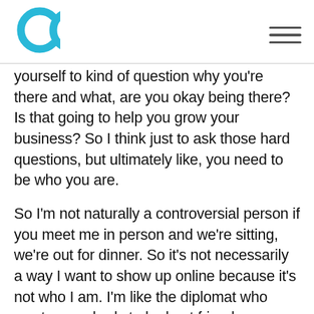[Figure (logo): Cyan letter C logo in top left corner]
yourself to kind of question why you're there and what, are you okay being there? Is that going to help you grow your business? So I think just to ask those hard questions, but ultimately like, you need to be who you are.
So I'm not naturally a controversial person if you meet me in person and we're sitting, we're out for dinner. So it's not necessarily a way I want to show up online because it's not who I am. I'm like the diplomat who wants everybody to be best friends.